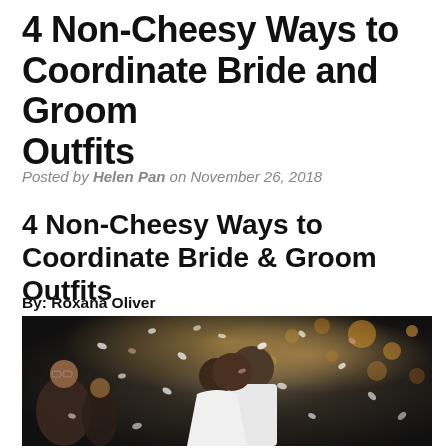4 Non-Cheesy Ways to Coordinate Bride and Groom Outfits
Posted by Helen Pan on November 26, 2018
4 Non-Cheesy Ways to Coordinate Bride & Groom Outfits
By: Roxana Oliver
[Figure (photo): Wedding couple kissing surrounded by falling flower petals/confetti, guests in background, groom in white suit, bride in white dress]